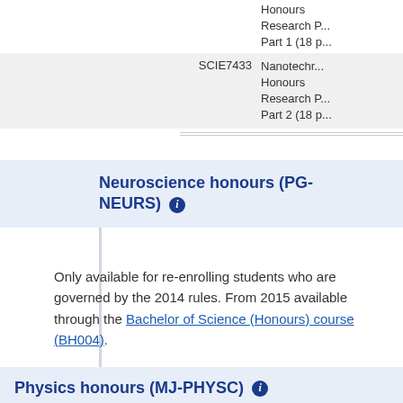|  | Code | Description |
| --- | --- | --- |
|  |  | Honours Research Part 1 (18 p... |
|  | SCIE7433 | Nanotechr... Honours Research Part 2 (18 p... |
Neuroscience honours (PG-NEURS) ℹ
Only available for re-enrolling students who are governed by the 2014 rules. From 2015 available through the Bachelor of Science (Honours) course (BH004).
Physics honours (MJ-PHYSC) ℹ